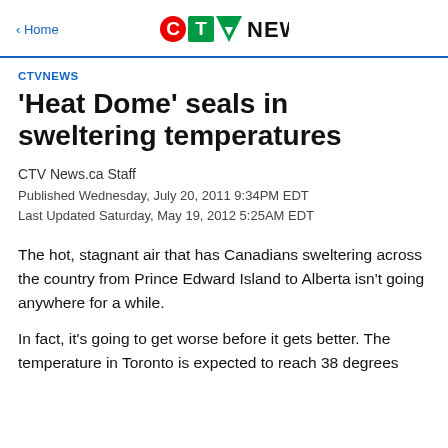< Home  CTV NEWS
CTVNEWS
'Heat Dome' seals in sweltering temperatures
CTV News.ca Staff
Published Wednesday, July 20, 2011 9:34PM EDT
Last Updated Saturday, May 19, 2012 5:25AM EDT
The hot, stagnant air that has Canadians sweltering across the country from Prince Edward Island to Alberta isn't going anywhere for a while.
In fact, it's going to get worse before it gets better. The temperature in Toronto is expected to reach 38 degrees